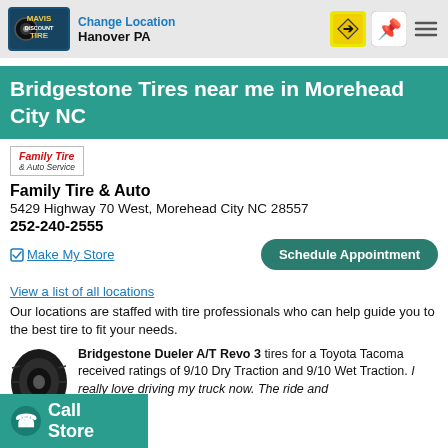Change Location Hanover PA
Bridgestone Tires near me in Morehead City NC
[Figure (logo): Family Tire & Auto Service logo]
Family Tire & Auto
5429 Highway 70 West, Morehead City NC 28557
252-240-2555
Make My Store  Schedule Appointment
View a list of all locations
Our locations are staffed with tire professionals who can help guide you to the best tire to fit your needs.
Bridgestone Dueler A/T Revo 3 tires for a Toyota Tacoma received ratings of 9/10 Dry Traction and 9/10 Wet Traction. I really love driving my truck now. The ride and
Call Store